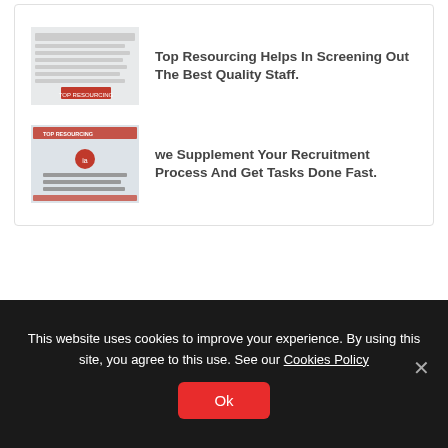[Figure (screenshot): Thumbnail image of a Top Resourcing document/webpage showing text content]
Top Resourcing Helps In Screening Out The Best Quality Staff.
[Figure (screenshot): Thumbnail image of a Top Resourcing page with red circular icon and body text about supplementing recruitment process]
we Supplement Your Recruitment Process And Get Tasks Done Fast.
This website uses cookies to improve your experience. By using this site, you agree to this use. See our Cookies Policy